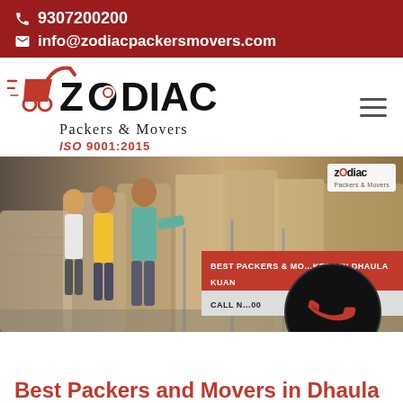9307200200
info@zodiacpackersmovers.com
[Figure (logo): Zodiac Packers & Movers logo with ISO 9001:2015 certification and hamburger menu icon]
[Figure (photo): Workers packing furniture/boxes in a warehouse with plastic wrap; overlay banners read 'BEST PACKERS & MOVERS IN DHAULA KUAN' and 'CALL NOW' with a phone number; a phone icon circle overlay on bottom right; small Zodiac logo watermark top right]
Best Packers and Movers in Dhaula Kuan